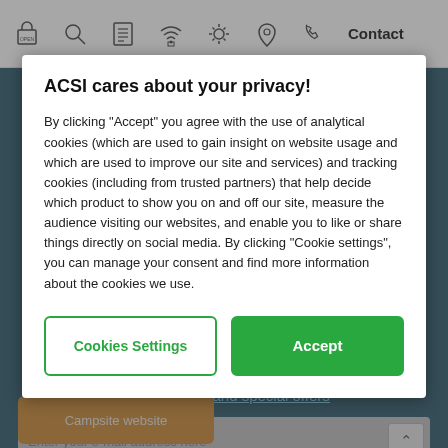Contact
ACSI cares about your privacy!
By clicking "Accept" you agree with the use of analytical cookies (which are used to gain insight on website usage and which are used to improve our site and services) and tracking cookies (including from trusted partners) that help decide which product to show you on and off our site, measure the audience visiting our websites, and enable you to like or share things directly on social media. By clicking "Cookie settings", you can manage your consent and find more information about the cookies we use.
Cookies Settings
Accept
Get great tips and special offers
Enter your e-mail address here
Campsite website